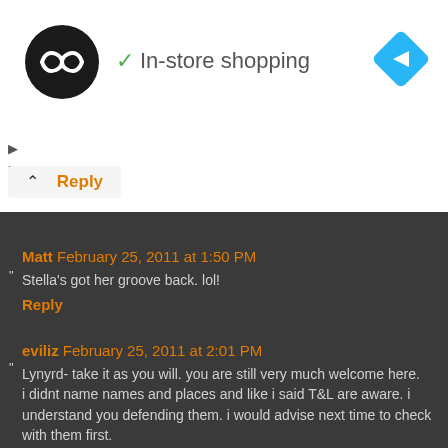[Figure (logo): Black circular logo with infinity-like symbol]
✓ In-store shopping
[Figure (illustration): Blue diamond navigation/directions icon]
Reply
Matt February 25, 2011 at 1:50 PM
Stella's got her groove back. lol!
Reply
eviliz February 25, 2011 at 2:01 PM
Lynyrd- take it as you will. you are still very much welcome here.
i didnt name names and places and like i said T&L are aware. i understand you defending them. i would advise next time to check with them first.
you have not been here long so you dont know how it goes.